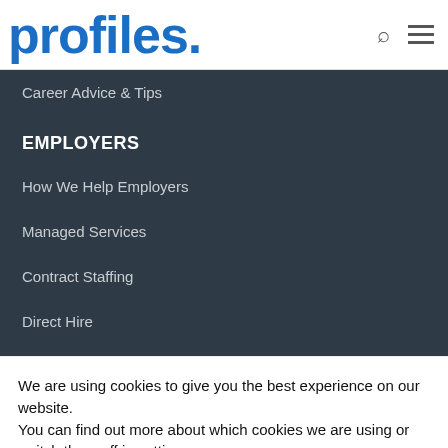profiles.
Career Advice & Tips
EMPLOYERS
How We Help Employers
Managed Services
Contract Staffing
Direct Hire
We are using cookies to give you the best experience on our website.
You can find out more about which cookies we are using or switch them off in settings.
ACCEPT